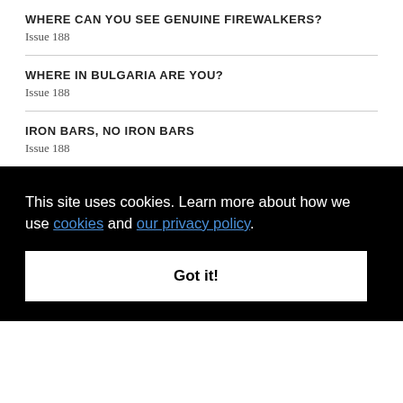WHERE CAN YOU SEE GENUINE FIREWALKERS?
Issue 188
WHERE IN BULGARIA ARE YOU?
Issue 188
IRON BARS, NO IRON BARS
Issue 188
This site uses cookies. Learn more about how we use cookies and our privacy policy.
Got it!